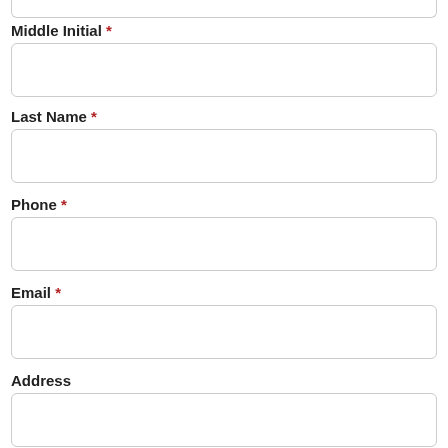Middle Initial *
Last Name *
Phone *
Email *
Address
City